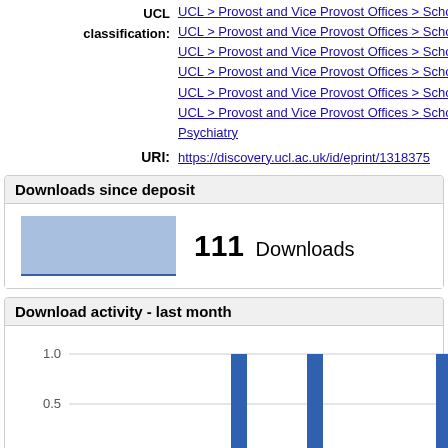UCL classification: UCL > Provost and Vice Provost Offices > School of Education, UCL > Provost and Vice Provost Offices > School of Education, UCL > Provost and Vice Provost Offices > School of Education, UCL > Provost and Vice Provost Offices > School of Life and..., UCL > Provost and Vice Provost Offices > School of Life a..., UCL > Provost and Vice Provost Offices > School of Life a... Psychiatry
URI: https://discovery.ucl.ac.uk/id/eprint/1318375
Downloads since deposit
111 Downloads
Download activity - last month
[Figure (bar-chart): Download activity - last month]